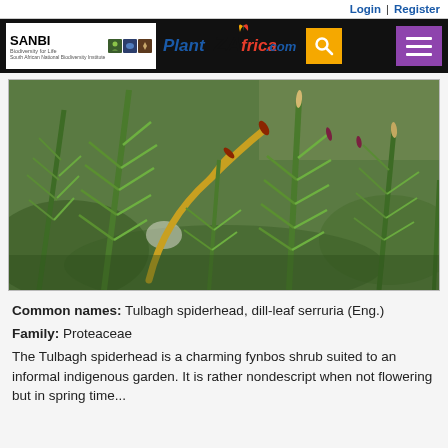Login | Register
[Figure (photo): Close-up photograph of a Tulbagh spiderhead (Serruria) plant showing long thin green needle-like leaves with yellow-red flower buds, set against a blurred green garden background.]
Common names: Tulbagh spiderhead, dill-leaf serruria (Eng.)
Family: Proteaceae
The Tulbagh spiderhead is a charming fynbos shrub suited to an informal indigenous garden. It is rather nondescript when not flowering but in spring time...